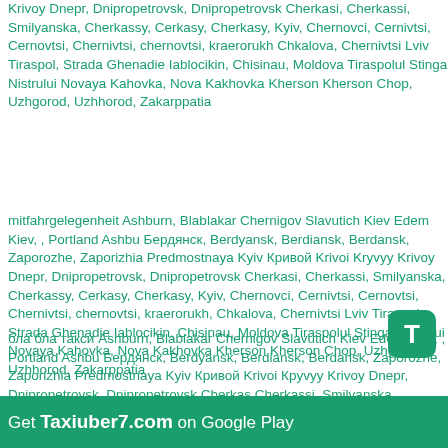Krivoy Dnepr, Dnipropetrovsk, Dnipropetrovsk Cherkasi, Cherkassi, Smilyanska, Cherkassy, Cerkasy, Cherkasy, Kyiv, Chernovci, Cernivtsi, Cernovtsi, Chernivtsi, chernovtsi, kraerorukh Chkalova, Chernivtsi Lviv Tiraspol, Strada Ghenadie Iablocikin, Chisinau, Moldova Tiraspolul Stinga Nistrului Novaya Kahovka, Nova Kakhovka Kherson Kherson Chop, Uzhgorod, Uzhhorod, Zakarppatia
mitfahrgelegenheit Ashburn, Blablakar Chernigov Slavutich Kiev Edem Kiev, , Portland Ashbu Бердянск, Berdyansk, Berdiansk, Berdansk, Zaporozhe, Zaporizhia Predmostnaya Kyiv Кривой Krivoi Kryvyy Krivoy Dnepr, Dnipropetrovsk, Dnipropetrovsk Cherkasi, Cherkassi, Smilyanska, Cherkassy, Cerkasy, Cherkasy, Kyiv, Chernovci, Cernivtsi, Cernovtsi, Chernivtsi, chernovtsi, kraerorukh, Chkalova, Chernivtsi Lviv Tiraspol, Strada Ghenadie Iablocikin, Chisinau, Moldova Tiraspolul Stinga Nistrului Novaya Kahovka, Nova Kakhovka Kherson Kherson Chop, Uzhgorod, Uzhhorod, Zakarppatia
бла бла такси Ashburn, Blablakar Chernigov Slavutich Kiev Edem Kiev, , Portland Ashbu Бердянск, Berdyansk, Berdiansk, Berdansk, Zaporozhe, Zaporizhia Predmostnaya Kyiv Кривой Krivoi Крyvyy Krivoy Dnepr, Dnipropetrovsk, Dnipropetrovsk Cherkas Cherkassi, Smilyanska, Cherkassy, Cerkasy, Cherkasy, K Chernovci, Cernivtsi, Cernovtsi, Chernivtsi, chernovtsi, kraerorukh Chkalova, Chernivtsi Lviv Tiraspol, Strada Ghenadie Iablocikin, Chisinau, Moldova Tiraspolul Stinga Nistrului Novaya Kahovka, Nova Kakhovka Kherson Kherson Chop, Uzhgorod, Uzhhorod,
[Figure (screenshot): Green banner overlay at bottom with text 'Get Taxiuber7.com on Google Play' and a T icon button on the right]